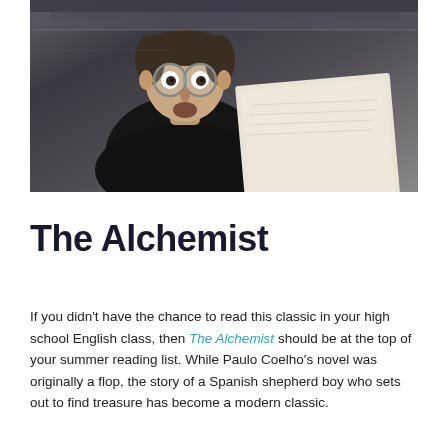[Figure (photo): A man with round glasses looking surprised while reading a piece of paper, in a dark cinematic setting]
The Alchemist
If you didn't have the chance to read this classic in your high school English class, then The Alchemist should be at the top of your summer reading list. While Paulo Coelho's novel was originally a flop, the story of a Spanish shepherd boy who sets out to find treasure has become a modern classic.